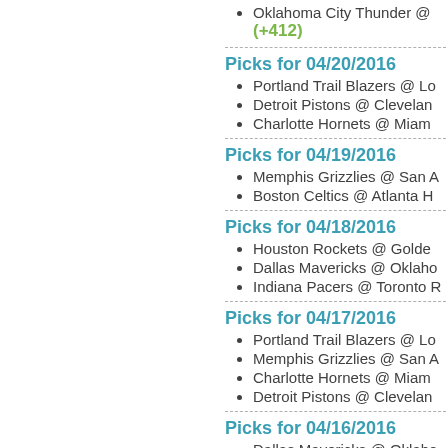Oklahoma City Thunder @ (+412)
Picks for 04/20/2016
Portland Trail Blazers @ Lo
Detroit Pistons @ Clevelan
Charlotte Hornets @ Miam
Picks for 04/19/2016
Memphis Grizzlies @ San A
Boston Celtics @ Atlanta H
Picks for 04/18/2016
Houston Rockets @ Golde
Dallas Mavericks @ Oklaho
Indiana Pacers @ Toronto R
Picks for 04/17/2016
Portland Trail Blazers @ Lo
Memphis Grizzlies @ San A
Charlotte Hornets @ Miam
Detroit Pistons @ Clevelan
Picks for 04/16/2016
Dallas Mavericks @ Oklaho
Boston Celtics @ Atlanta H
Houston Rockets @ Golde